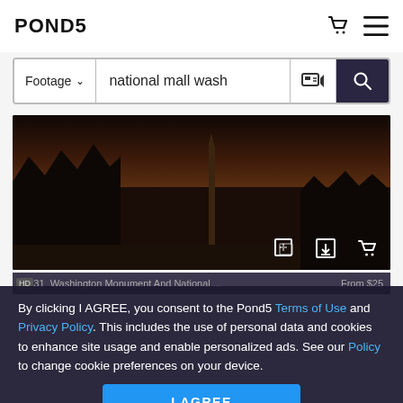POND5
[Figure (screenshot): Search bar with 'Footage' dropdown and search query 'national mall wash', visual search icon, and search button]
[Figure (screenshot): Dark video thumbnail showing Washington Monument silhouette at dusk with trees, with add to collection, download, and cart icon controls]
00:31  Washington Monument And National ...  From $25  HD
By clicking I AGREE, you consent to the Pond5 Terms of Use and Privacy Policy. This includes the use of personal data and cookies to enhance site usage and enable personalized ads. See our Policy to change cookie preferences on your device.
I AGREE